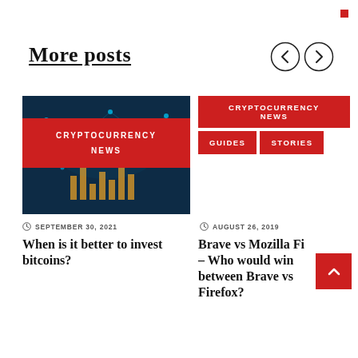More posts
[Figure (illustration): Two navigation arrow circles (left and right arrows) for pagination]
[Figure (photo): Cryptocurrency/technology themed dark blue image with network nodes and digital chart overlay, overlaid with red badge reading CRYPTOCURRENCY NEWS]
[Figure (other): Red tag badges: CRYPTOCURRENCY NEWS, GUIDES, STORIES]
SEPTEMBER 30, 2021
AUGUST 26, 2019
When is it better to invest bitcoins?
Brave vs Mozilla Fi – Who would win between Brave vs Firefox?